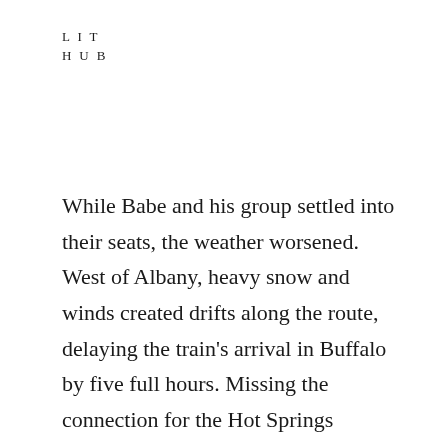LIT
HUB
While Babe and his group settled into their seats, the weather worsened. West of Albany, heavy snow and winds created drifts along the route, delaying the train's arrival in Buffalo by five full hours. Missing the connection for the Hot Springs Special, one writer blamed the